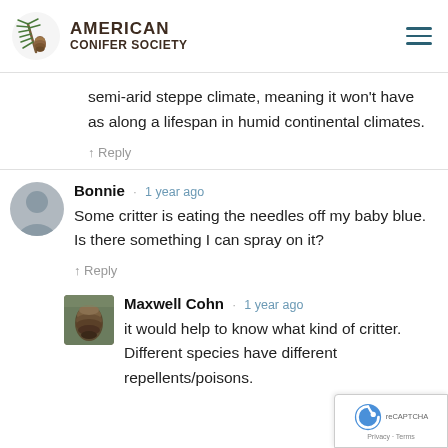[Figure (logo): American Conifer Society logo with pine branch and pinecone illustration]
semi-arid steppe climate, meaning it won't have as along a lifespan in humid continental climates.
Reply
Bonnie · 1 year ago
Some critter is eating the needles off my baby blue. Is there something I can spray on it?
Reply
Maxwell Cohn · 1 year ago
it would help to know what kind of critter. Different species have different repellents/poisons.